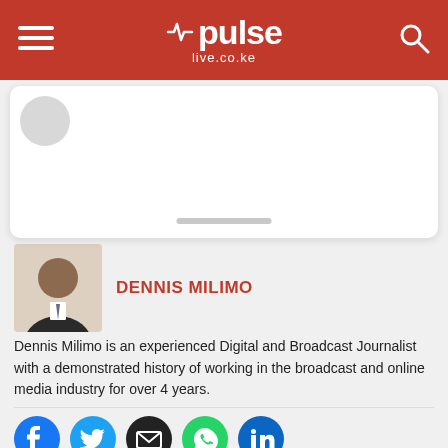pulse live.co.ke
[Figure (screenshot): White card area with avatar placeholder and scroll bar]
[Figure (photo): Photo of Dennis Milimo, a man in a suit]
DENNIS MILIMO
Dennis Milimo is an experienced Digital and Broadcast Journalist with a demonstrated history of working in the broadcast and online media industry for over 4 years.
[Figure (infographic): Social media icons: Facebook, Twitter, Email, WhatsApp, LinkedIn]